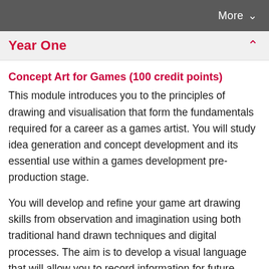More ∨
Year One
Concept Art for Games (100 credit points)
This module introduces you to the principles of drawing and visualisation that form the fundamentals required for a career as a games artist. You will study idea generation and concept development and its essential use within a games development pre-production stage.
You will develop and refine your game art drawing skills from observation and imagination using both traditional hand drawn techniques and digital processes. The aim is to develop a visual language that will allow you to record information for future development of your concepts. The...